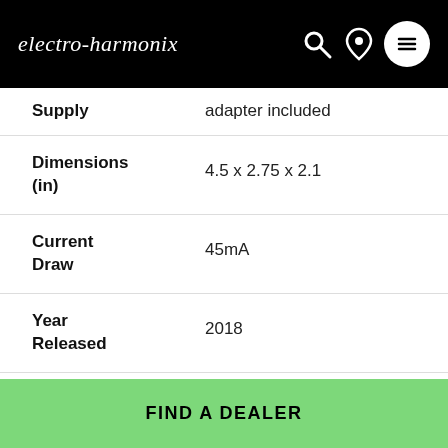electro-harmonix
| Specification | Value |
| --- | --- |
| Supply | adapter included |
| Dimensions (in) | 4.5 x 2.75 x 2.1 |
| Current Draw | 45mA |
| Year Released | 2018 |
HPS
FIND A DEALER